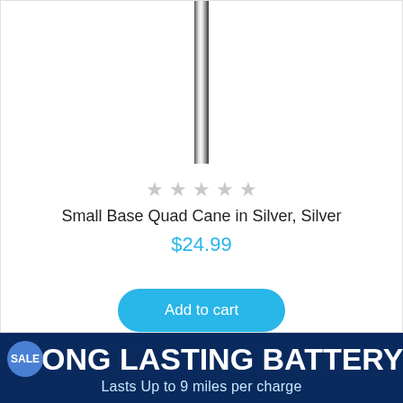[Figure (photo): A silver quad cane shown vertically, close-up of the shaft against a white background]
★ ★ ★ ★ ★
Small Base Quad Cane in Silver, Silver
$24.99
Add to cart
[Figure (infographic): Dark navy banner with SALE badge, bold white text 'ONG LASTING BATTERY' and subtext 'Lasts Up to 9 miles per charge']